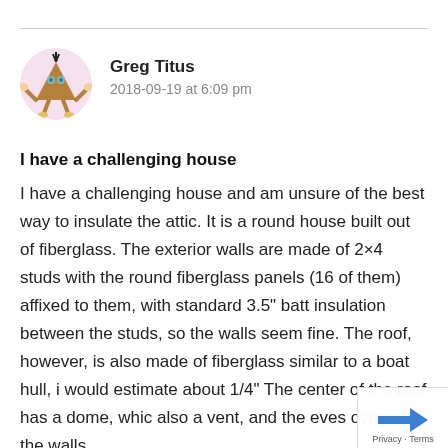[Figure (illustration): Round cartoon avatar illustration of a quirky character shaped like a brown triangle/funnel with arms, legs, and a face with blue eyes, set in a pink circular background]
Greg Titus
2018-09-19 at 6:09 pm
I have a challenging house
I have a challenging house and am unsure of the best way to insulate the attic. It is a round house built out of fiberglass. The exterior walls are made of 2×4 studs with the round fiberglass panels (16 of them) affixed to them, with standard 3.5" batt insulation between the studs, so the walls seem fine. The roof, however, is also made of fiberglass similar to a boat hull, i would estimate about 1/4" The center of the roof has a dome, whic also a vent, and the eves overhang the walls